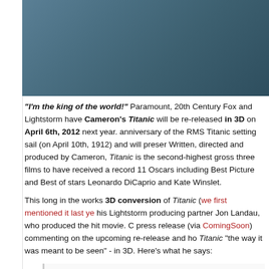[Figure (photo): Photo of actors from Titanic film, partially visible at top of page]
"I'm the king of the world!" Paramount, 20th Century Fox and Lightstorm have Cameron's Titanic will be re-released in 3D on April 6th, 2012 next year. anniversary of the RMS Titanic setting sail (on April 10th, 1912) and will preser Written, directed and produced by Cameron, Titanic is the second-highest gross three films to have received a record 11 Oscars including Best Picture and Best of stars Leonardo DiCaprio and Kate Winslet.
This long in the works 3D conversion of Titanic (we first mentioned it last ye his Lightstorm producing partner Jon Landau, who produced the hit movie. C press release (via ComingSoon) commenting on the upcoming re-release and ho Titanic "the way it was meant to be seen" - in 3D. Here's what he says:
"There's a whole generation that's never seen Titanic as it was meant And this will be Titanic as you've never seen it before, digitally re-mast converted to 3D. With the emotional power intact and the images more p an epic experience for fans and newcomers alike."
Glad to see one of my favorite filmmakers throwing around the word "epic", a "This new presentation of Paramount's top-grossing film is particularly special of our studio," said Paramount CEO Brad Grey. "We cannot think of a better w re-release of Titanic." This is probably going to be quite a big event and I'm su